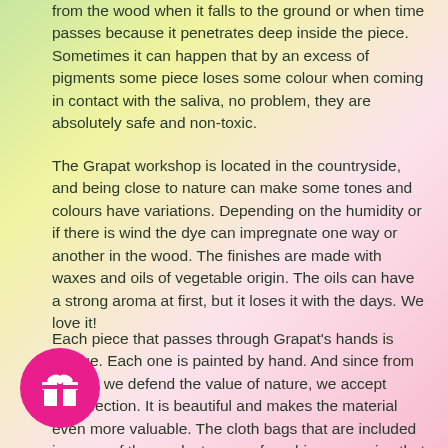from the wood when it falls to the ground or when time passes because it penetrates deep inside the piece. Sometimes it can happen that by an excess of pigments some piece loses some colour when coming in contact with the saliva, no problem, they are absolutely safe and non-toxic.
The Grapat workshop is located in the countryside, and being close to nature can make some tones and colours have variations. Depending on the humidity or if there is wind the dye can impregnate one way or another in the wood. The finishes are made with waxes and oils of vegetable origin. The oils can have a strong aroma at first, but it loses it with the days. We love it!
Each piece that passes through Grapat's hands is unique. Each one is painted by hand. And since from Grapat we defend the value of nature, we accept imperfection. It is beautiful and makes the material even more valuable. The cloth bags that are included in some of the products come from big companies that discard material when they have a small defect. As Grapat produces the by hand they can take advantage of them by removing those and giving them a second life. The fabrics vary and do not match with the photos of the products.
[Figure (illustration): Magenta circular gift icon button with white gift box symbol]